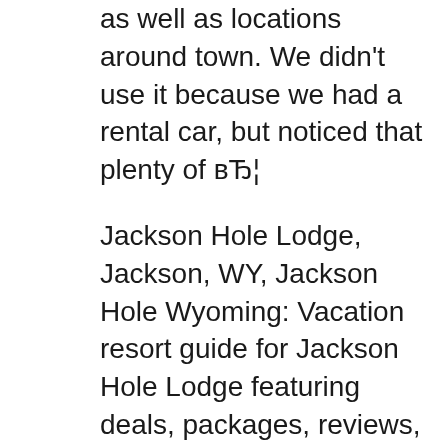as well as locations around town. We didn't use it because we had a rental car, but noticed that plenty of вЂ¦
Jackson Hole Lodge, Jackson, WY, Jackson Hole Wyoming: Vacation resort guide for Jackson Hole Lodge featuring deals, packages, reviews, photos, video, rates, number of rooms, amenities, activities and much more. Search cancel. Resorts & Lodges Vacation Rentals Travel Guides. Book the The Lodge at Jackson Hole - Stay at this 3.5-star boutique hotel in Jackson. Enjoy free WiFi, free parking, and an outdoor pool. Our guests praise the comfy rooms and the overall value in our reviews. Popular attractions Jackson